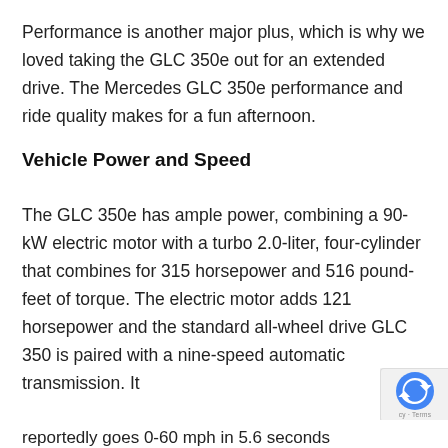Performance is another major plus, which is why we loved taking the GLC 350e out for an extended drive. The Mercedes GLC 350e performance and ride quality makes for a fun afternoon.
Vehicle Power and Speed
The GLC 350e has ample power, combining a 90-kW electric motor with a turbo 2.0-liter, four-cylinder that combines for 315 horsepower and 516 pound-feet of torque. The electric motor adds 121 horsepower and the standard all-wheel drive GLC 350 is paired with a nine-speed automatic transmission. It reportedly goes 0-60 mph in 5.6 seconds